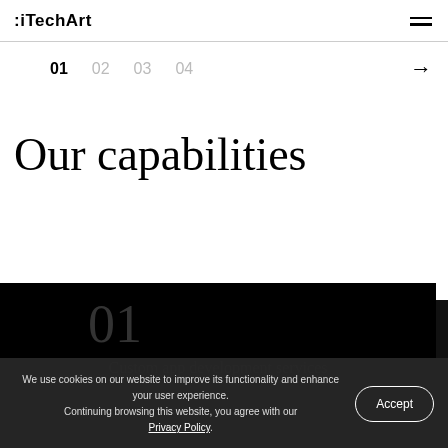:iTechArt
01  02  03  04  →
Our capabilities
01
Custom app development services
We use cookies on our website to improve its functionality and enhance your user experience. Continuing browsing this website, you agree with our Privacy Policy.